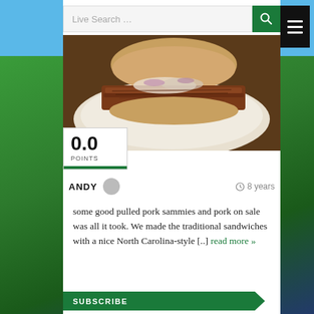[Figure (photo): Pulled pork sandwich on a plate, with shredded meat and toppings visible]
0.0 POINTS
ANDY  8 years
some good pulled pork sammies and pork on sale was all it took. We made the traditional sandwiches with a nice North Carolina-style [...] read more »
SUBSCRIBE
Join 9,475 other subscribers